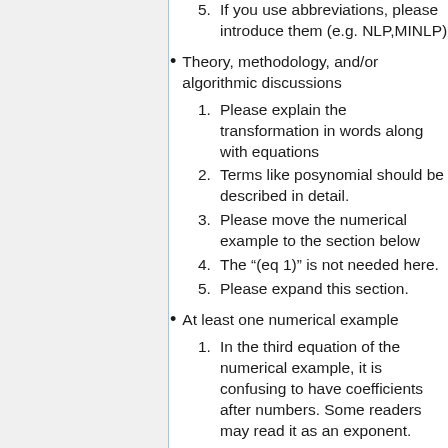5. If you use abbreviations, please introduce them (e.g. NLP,MINLP)
Theory, methodology, and/or algorithmic discussions
1. Please explain the transformation in words along with equations
2. Terms like posynomial should be described in detail.
3. Please move the numerical example to the section below
4. The “(eq 1)” is not needed here.
5. Please expand this section.
At least one numerical example
1. In the third equation of the numerical example, it is confusing to have coefficients after numbers. Some readers may read it as an exponent.
2. Last equation in this section after